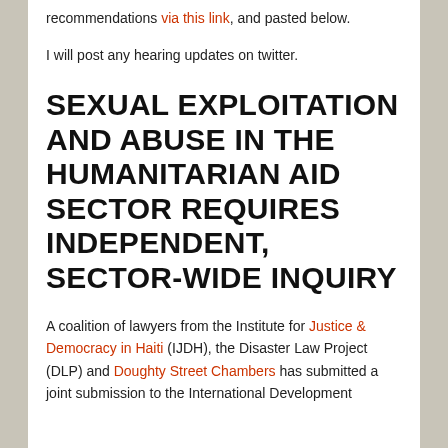recommendations via this link, and pasted below.
I will post any hearing updates on twitter.
SEXUAL EXPLOITATION AND ABUSE IN THE HUMANITARIAN AID SECTOR REQUIRES INDEPENDENT, SECTOR-WIDE INQUIRY
A coalition of lawyers from the Institute for Justice & Democracy in Haiti (IJDH), the Disaster Law Project (DLP) and Doughty Street Chambers has submitted a joint submission to the International Development